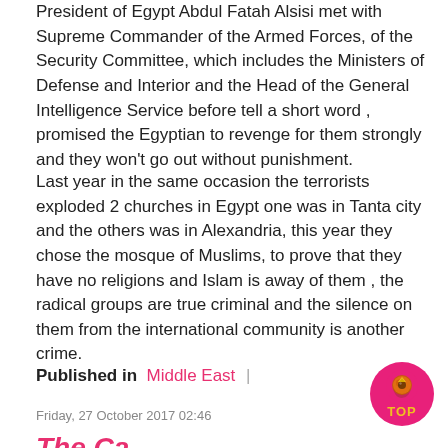President of Egypt Abdul Fatah Alsisi met with Supreme Commander of the Armed Forces, of the Security Committee, which includes the Ministers of Defense and Interior and the Head of the General Intelligence Service before tell a short word , promised the Egyptian to revenge for them strongly and they won't go out without punishment.
Last year in the same occasion the terrorists exploded 2 churches in Egypt one was in Tanta city and the others was in Alexandria, this year they chose the mosque of Muslims, to prove that they have no religions and Islam is away of them , the radical groups are true criminal and the silence on them from the international community is another crime.
Published in  Middle East |
Friday, 27 October 2017 02:46
The Cai...